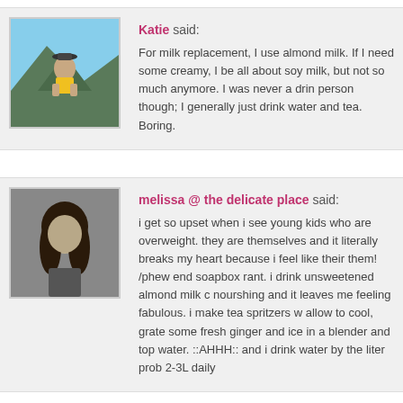Katie said: For milk replacement, I use almond milk. If I need some creamy, I be all about soy milk, but not so much anymore. I was never a drinker person though; I generally just drink water and tea. Boring.
melissa @ the delicate place said: i get so upset when i see young kids who are overweight. they are themselves and it literally breaks my heart because i feel like their them! /phew end soapbox rant. i drink unsweetened almond milk c nourshing and it leaves me feeling fabulous. i make tea spritzers w allow to cool, grate some fresh ginger and ice in a blender and top water. ::AHHH:: and i drink water by the liter prob 2-3L daily
[Figure (photo): Avatar photo of Katie - woman outdoors on a mountain]
[Figure (photo): Avatar photo of melissa - woman with dark hair, grayscale]
[Figure (photo): Partial blue avatar at bottom]